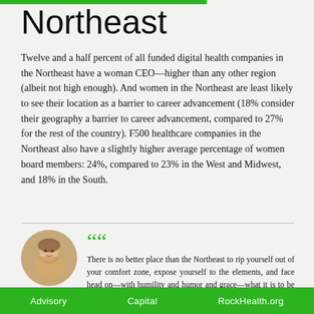Northeast
Twelve and a half percent of all funded digital health companies in the Northeast have a woman CEO—higher than any other region (albeit not high enough). And women in the Northeast are least likely to see their location as a barrier to career advancement (18% consider their geography a barrier to career advancement, compared to 27% for the rest of the country). F500 healthcare companies in the Northeast also have a slightly higher average percentage of women board members: 24%, compared to 23% in the West and Midwest, and 18% in the South.
There is no better place than the Northeast to rip yourself out of your comfort zone, expose yourself to the elements, and face head on—with humility and humor and grace—what it is to be a human in
Advisory   Capital   RockHealth.org